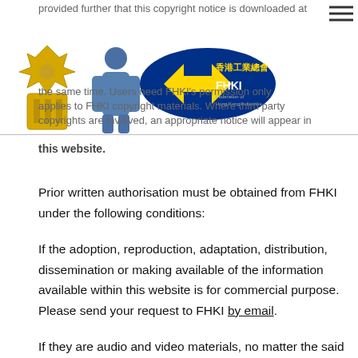provided further that this copyright notice is downloaded at the same time. Users need FHKI's permission only applies to FHKI copyright materials. Where third party copyrights are involved, an appropriate notice will appear in this website.
Prior written authorisation must be obtained from FHKI under the following conditions:
If the adoption, reproduction, adaptation, distribution, dissemination or making available of the information available within this website is for commercial purpose. Please send your request to FHKI by email.
If they are audio and video materials, no matter the said materials are being adopted, reproduced, adapted,